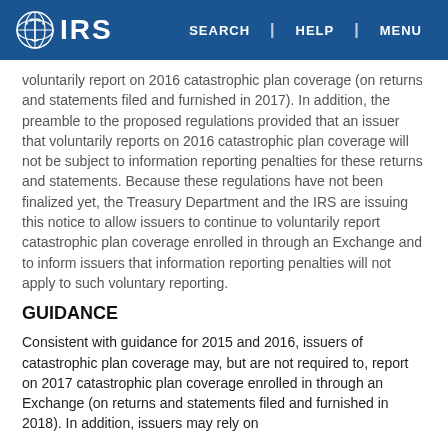IRS | SEARCH | HELP | MENU
voluntarily report on 2016 catastrophic plan coverage (on returns and statements filed and furnished in 2017). In addition, the preamble to the proposed regulations provided that an issuer that voluntarily reports on 2016 catastrophic plan coverage will not be subject to information reporting penalties for these returns and statements. Because these regulations have not been finalized yet, the Treasury Department and the IRS are issuing this notice to allow issuers to continue to voluntarily report catastrophic plan coverage enrolled in through an Exchange and to inform issuers that information reporting penalties will not apply to such voluntary reporting.
GUIDANCE
Consistent with guidance for 2015 and 2016, issuers of catastrophic plan coverage may, but are not required to, report on 2017 catastrophic plan coverage enrolled in through an Exchange (on returns and statements filed and furnished in 2018). In addition, issuers may rely on